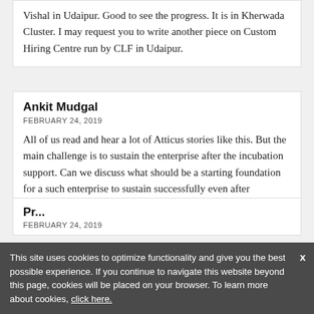Vishal in Udaipur. Good to see the progress. It is in Kherwada Cluster. I may request you to write another piece on Custom Hiring Centre run by CLF in Udaipur.
Ankit Mudgal
FEBRUARY 24, 2019
All of us read and hear a lot of Atticus stories like this. But the main challenge is to sustain the enterprise after the incubation support. Can we discuss what should be a starting foundation for a such enterprise to sustain successfully even after incubation support.
Pr...
FEBRUARY 24, 2019
This site uses cookies to optimize functionality and give you the best possible experience. If you continue to navigate this website beyond this page, cookies will be placed on your browser. To learn more about cookies, click here.